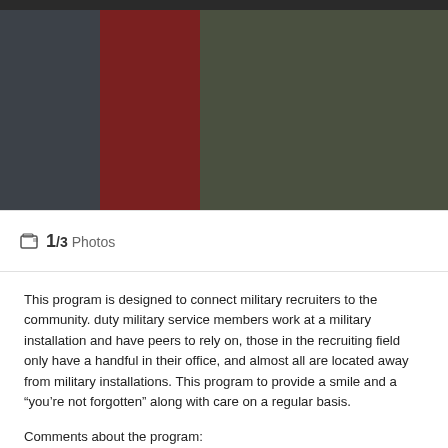[Figure (photo): Group photo of military personnel in camouflage uniforms giving thumbs up, along with a civilian in a red jacket]
1/3 Photos
This program is designed to connect military recruiters to the community. duty military service members work at a military installation and have peers to rely on, those in the recruiting field only have a handful in their office, and almost all are located away from military installations. This program to provide a smile and a "you're not forgotten" along with care on a regular basis.
Comments about the program:
I was having an awful day today and couldn't wait to go home